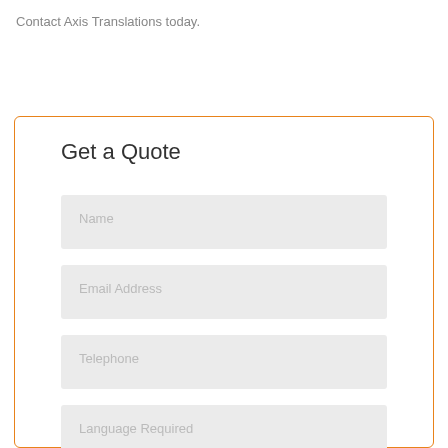Contact Axis Translations today.
Get a Quote
Name
Email Address
Telephone
Language Required